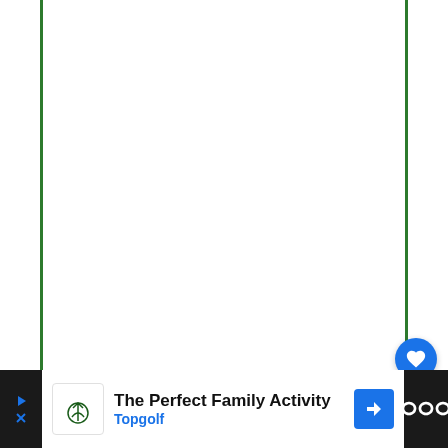[Figure (screenshot): Screenshot of a webpage with green vertical border lines on left and right sides, white content area, social action buttons (heart/like button in blue circle, share button), a 'What's Next' card showing '12 Best Whipper...' article, and a bottom advertisement bar for Topgolf reading 'The Perfect Family Activity' with navigation icon.]
4
Privacy · Terms
WHAT'S NEXT → 12 Best Whipper...
The Perfect Family Activity Topgolf